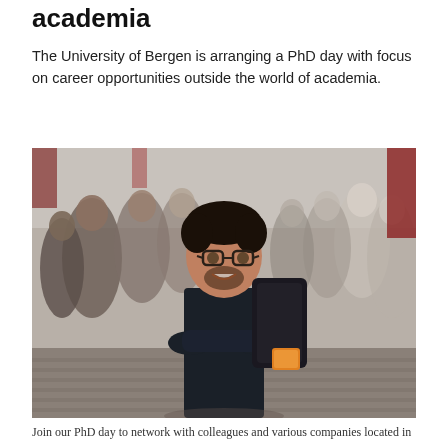academia
The University of Bergen is arranging a PhD day with focus on career opportunities outside the world of academia.
[Figure (photo): A man with glasses and a dark shirt, arms crossed, smiling at the camera, standing in what appears to be a crowded event or conference hall with many people in the background.]
Join our PhD day to network with colleagues and various companies located in